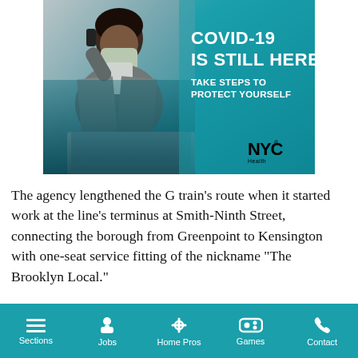[Figure (infographic): NYC Health COVID-19 advertisement. Shows a person wearing a mask talking on a phone while working on a laptop. Teal/blue gradient background. Text reads 'COVID-19 IS STILL HERE' and 'TAKE STEPS TO PROTECT YOURSELF'. NYC Health logo in bottom right.]
The agency lengthened the G train’s route when it started work at the line’s terminus at Smith-Ninth Street, connecting the borough from Greenpoint to Kensington with one-seat service fitting of the nickname “The Brooklyn Local.”
Sections | Jobs | Home Pros | Games | Contact